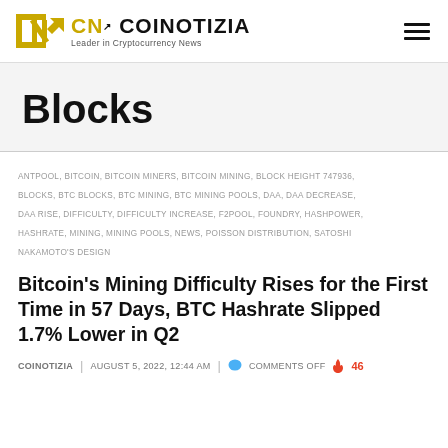COINOTIZIA — Leader in Cryptocurrency News
Blocks
ANTPOOL, BITCOIN, BITCOIN MINERS, BITCOIN MINING, BLOCK HEIGHT 747936, BLOCKS, BTC BLOCKS, BTC MINING, BTC MINING POOLS, DAA, DAA DECREASE, DAA RISE, DIFFICULTY, DIFFICULTY INCREASE, F2POOL, FOUNDRY, HASHPOWER, HASHRATE, MINING, MINING POOLS, NEWS, POISSON DISTRIBUTION, SATOSHI NAKAMOTO'S DESIGN
Bitcoin's Mining Difficulty Rises for the First Time in 57 Days, BTC Hashrate Slipped 1.7% Lower in Q2
COINOTIZIA | AUGUST 5, 2022, 12:44 AM | COMMENTS OFF 🔥 46